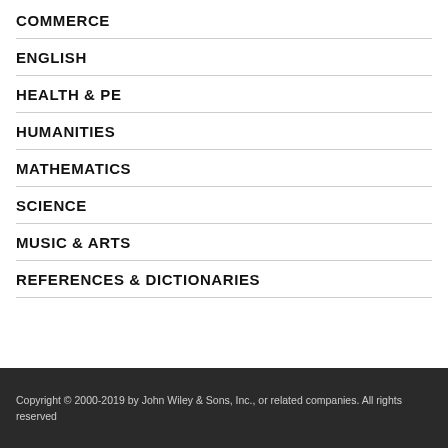COMMERCE
ENGLISH
HEALTH & PE
HUMANITIES
MATHEMATICS
SCIENCE
MUSIC & ARTS
REFERENCES & DICTIONARIES
Copyright © 2000-2019 by John Wiley & Sons, Inc., or related companies. All rights reserved